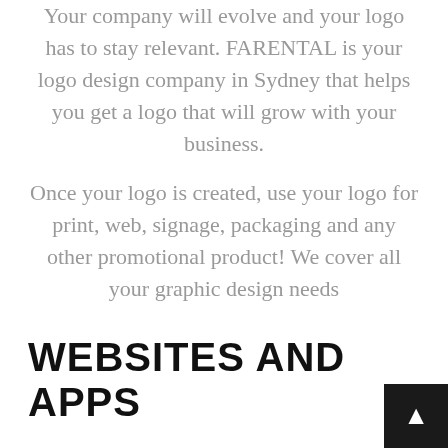Your company will evolve and your logo has to stay relevant. FARENTAL is your logo design company in Sydney that helps you get a logo that will grow with your business.
Once your logo is created, use your logo for print, web, signage, packaging and any other promotional product! We cover all your graphic design needs
WEBSITES AND APPS
Need a new website or a refresh? Web design and development...